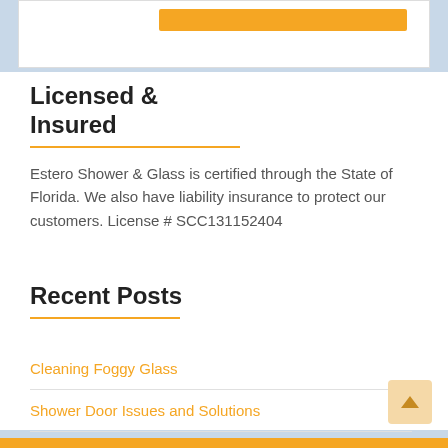Licensed & Insured
Estero Shower & Glass is certified through the State of Florida. We also have liability insurance to protect our customers. License # SCC131152404
Recent Posts
Cleaning Foggy Glass
Shower Door Issues and Solutions
How to Repair a Shower Door